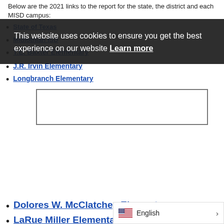Below are the 2021 links to the report for the state, the district and each MISD campus:
State of Texas
Midlothian ISD
T.E. Baxter Elementary
J.R. Irvin Elementary
Longbranch Elementary
Dolores W. McClatchey Elementary
LaRue Miller Elementary
Mt. Peak Elementary
J.A. Vitovsky Elementary
Dieterich Middle School
Frank Seale Middle School
Walnut Grove Middle School